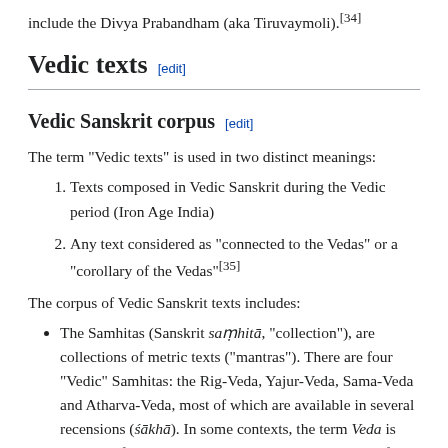include the Divya Prabandham (aka Tiruvaymoli).[34]
Vedic texts [edit]
Vedic Sanskrit corpus [edit]
The term "Vedic texts" is used in two distinct meanings:
Texts composed in Vedic Sanskrit during the Vedic period (Iron Age India)
Any text considered as "connected to the Vedas" or a "corollary of the Vedas"[35]
The corpus of Vedic Sanskrit texts includes:
The Samhitas (Sanskrit saṃhitā, "collection"), are collections of metric texts ("mantras"). There are four "Vedic" Samhitas: the Rig-Veda, Yajur-Veda, Sama-Veda and Atharva-Veda, most of which are available in several recensions (śākhā). In some contexts, the term Veda is used to refer only to these Samhitas, the collection of mantras. This is the oldest layer of Vedic texts, which were...